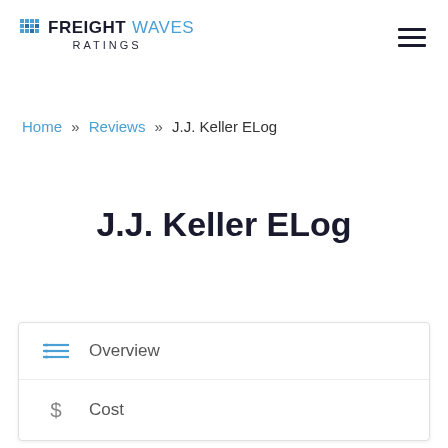FREIGHTWAVES RATINGS
Home » Reviews » J.J. Keller ELog
J.J. Keller ELog
Overview
Cost